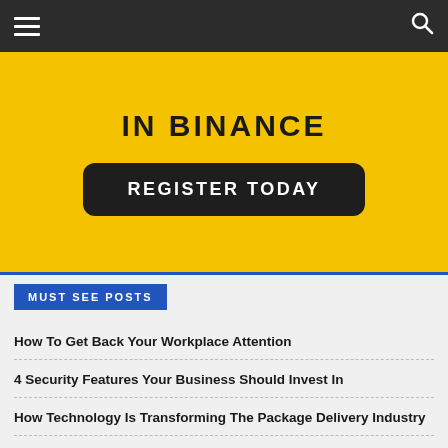Navigation bar with hamburger menu and search icon
[Figure (photo): Yellow background banner with bold text 'IN BINANCE' and a dark rounded button reading 'REGISTER TODAY']
MUST SEE POSTS
How To Get Back Your Workplace Attention
4 Security Features Your Business Should Invest In
How Technology Is Transforming The Package Delivery Industry
6 Tips For New Life Insurance Agents
How To Improve WordPress Performance In 6 Steps